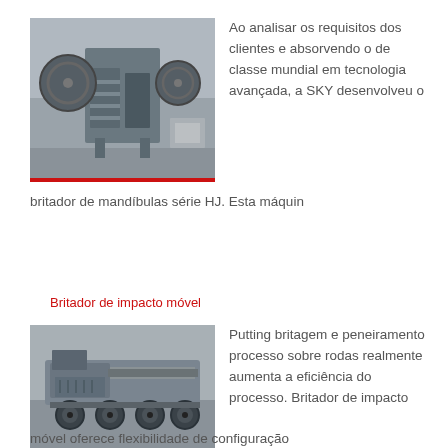[Figure (photo): Photo of a jaw crusher machine (HJ series) in a factory/warehouse setting, painted grey, with large flywheels visible.]
Ao analisar os requisitos dos clientes e absorvendo o de classe mundial em tecnologia avançada, a SKY desenvolveu o britador de mandíbulas série HJ. Esta máquin
Britador de impacto móvel
[Figure (photo): Photo of a mobile impact crusher on wheels/tracks parked in a yard, grey coloured heavy machinery.]
Putting britagem e peneiramento processo sobre rodas realmente aumenta a eficiência do processo. Britador de impacto móvel oferece flexibilidade de configuração